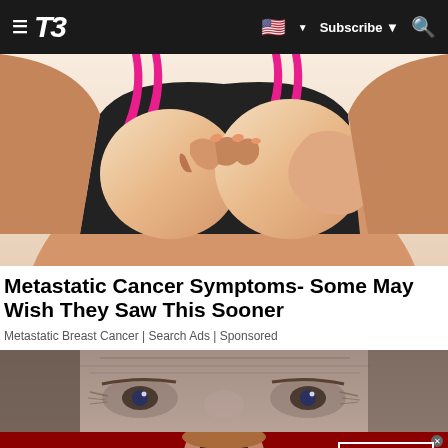T3 — Subscribe
[Figure (photo): Woman in black and pink sports bra touching her chest/breast area, illustration style with beige/tan background]
Metastatic Cancer Symptoms- Some May Wish They Saw This Sooner
Metastatic Breast Cancer | Search Ads | Sponsored
[Figure (photo): Close-up of elderly person's face showing eyes and wrinkled skin]
[Figure (photo): Advertisement banner: KISS BORING LIPS GOODBYE with woman's red lips, SHOP NOW button and Macy's logo on dark red background]